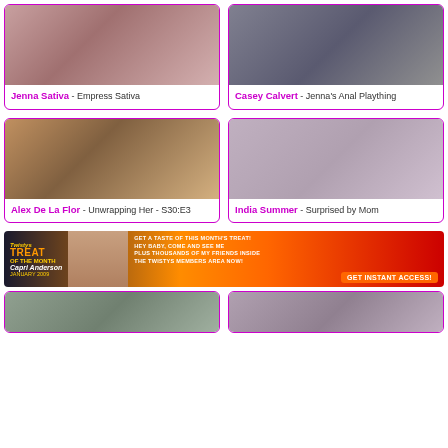[Figure (photo): Jenna Sativa - Empress Sativa thumbnail]
Jenna Sativa - Empress Sativa
[Figure (photo): Casey Calvert - Jenna's Anal Plaything thumbnail]
Casey Calvert - Jenna's Anal Plaything
[Figure (photo): Alex De La Flor - Unwrapping Her - S30:E3 thumbnail]
Alex De La Flor - Unwrapping Her - S30:E3
[Figure (photo): India Summer - Surprised by Mom thumbnail]
India Summer - Surprised by Mom
[Figure (photo): Twistys Treat of the Month - Capri Anderson January 2009 banner advertisement]
[Figure (photo): Bottom row thumbnails]
[Figure (photo): Bottom row thumbnails second]